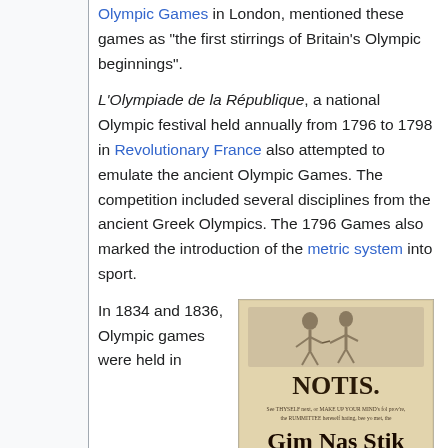Olympic Games in London, mentioned these games as "the first stirrings of Britain's Olympic beginnings".
L'Olympiade de la République, a national Olympic festival held annually from 1796 to 1798 in Revolutionary France also attempted to emulate the ancient Olympic Games. The competition included several disciplines from the ancient Greek Olympics. The 1796 Games also marked the introduction of the metric system into sport.
In 1834 and 1836, Olympic games were held in
[Figure (photo): An old document or poster titled 'NOTIS.' with illustration of figures at top, and text reading 'Gim Nas Stik Xercisez' in large letters.]